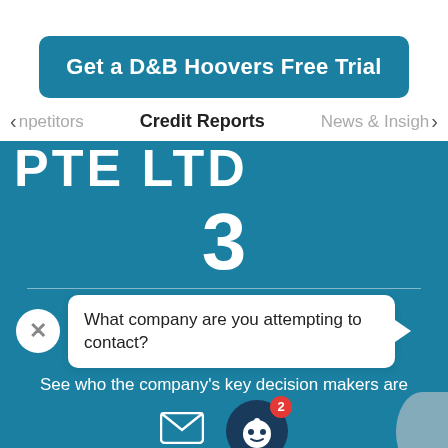[Figure (screenshot): D&B Hoovers free trial button - teal rounded rectangle]
Credit Reports
PTE LTD
3
[Figure (screenshot): Chat bubble asking 'What company are you attempting to contact?' with close button]
See who the company's key decision makers ar
9